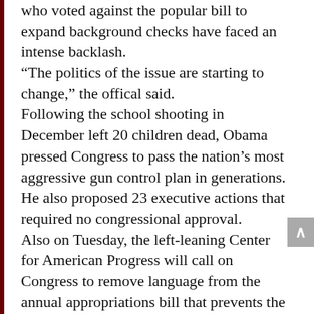who voted against the popular bill to expand background checks have faced an intense backlash. “The politics of the issue are starting to change,” the offical said. Following the school shooting in December left 20 children dead, Obama pressed Congress to pass the nation’s most aggressive gun control plan in generations. He also proposed 23 executive actions that required no congressional approval. Also on Tuesday, the left-leaning Center for American Progress will call on Congress to remove language from the annual appropriations bill that prevents the Bureau of Alcohol, Tobacco, Firearms and Explosives from